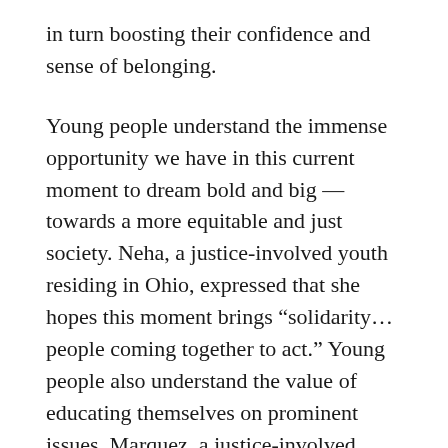in turn boosting their confidence and sense of belonging.
Young people understand the immense opportunity we have in this current moment to dream bold and big — towards a more equitable and just society. Neha, a justice-involved youth residing in Ohio, expressed that she hopes this moment brings “solidarity…people coming together to act.” Young people also understand the value of educating themselves on prominent issues. Marquez, a justice-involved youth, shared he’s hopeful for “increased interest in research and education on governmental